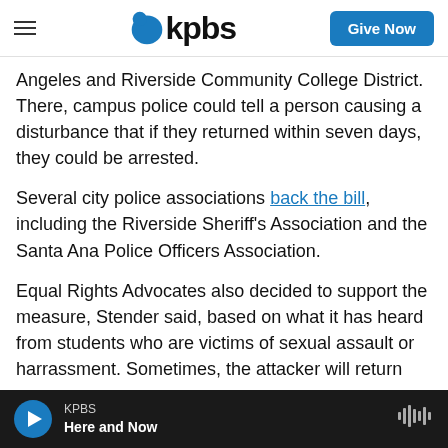kpbs | Give Now
Angeles and Riverside Community College District. There, campus police could tell a person causing a disturbance that if they returned within seven days, they could be arrested.
Several city police associations back the bill, including the Riverside Sheriff's Association and the Santa Ana Police Officers Association.
Equal Rights Advocates also decided to support the measure, Stender said, based on what it has heard from students who are victims of sexual assault or harrassment. Sometimes, the attacker will return
KPBS | Here and Now